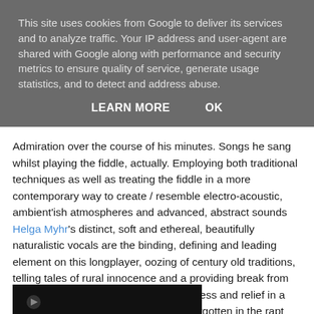This site uses cookies from Google to deliver its services and to analyze traffic. Your IP address and user-agent are shared with Google along with performance and security metrics to ensure quality of service, generate usage statistics, and to detect and address abuse.
LEARN MORE    OK
Admiration over the course of his minutes. Songs he sang whilst playing the fiddle, actually. Employing both traditional techniques as well as treating the fiddle in a more contemporary way to create / resemble electro-acoustic, ambient'ish atmospheres and advanced, abstract sounds Helga Myhr's distinct, soft and ethereal, beautifully naturalistic vocals are the binding, defining and leading element on this longplayer, oozing of century old traditions, telling tales of rural innocence and a providing break from ancient hardship, providing hope, firmness and relief in a way that seemed to be long lost and forgotten in the rapt attention of today's 24/7 digital economy. An album to slow down to and focus on self communion.
[Figure (photo): Dark image strip at bottom of page, appears to be a photo thumbnail]